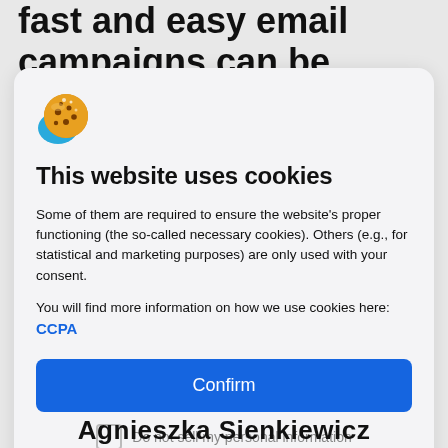fast and easy email campaigns can be.
[Figure (illustration): Cookie emoji icon with a blue bite shape]
This website uses cookies
Some of them are required to ensure the website's proper functioning (the so-called necessary cookies). Others (e.g., for statistical and marketing purposes) are only used with your consent.
You will find more information on how we use cookies here: CCPA
Confirm
Do not sell my personal information
Agnieszka Sienkiewicz